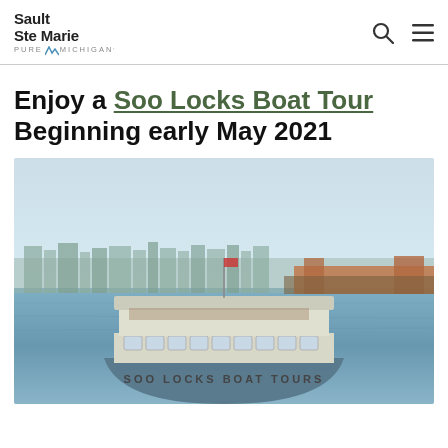Sault Ste Marie Pure Michigan
Enjoy a Soo Locks Boat Tour Beginning early May 2021
[Figure (photo): A tour boat labeled 'SOO LOCKS BOAT TOURS' on calm blue water with a city skyline and a large freighter visible in the background under a clear sky.]